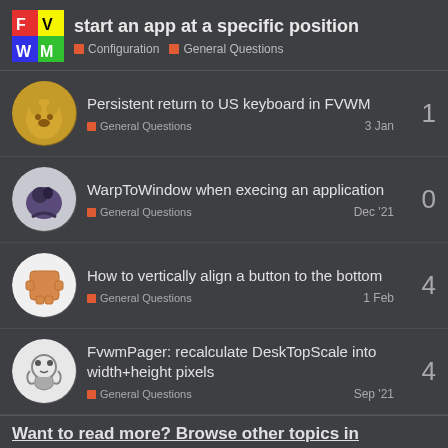start an app at a specific position
Persistent return to US keyboard in FVWM
General Questions · 3 Jan · replies: 1
WarpToWindow when execing an application
General Questions · Dec '21 · replies: 0
How to vertically align a button to the bottom
General Questions · 1 Feb · replies: 4
FvwmPager: recalculate DeskTopScale into width+height pixels
General Questions · Sep '21 · replies: 4
Want to read more? Browse other topics in